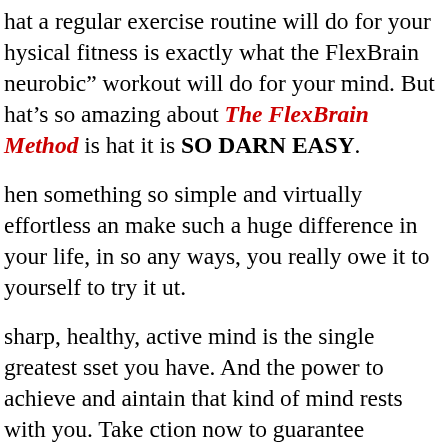hat a regular exercise routine will do for your hysical fitness is exactly what the FlexBrain neurobic" workout will do for your mind. But hat's so amazing about The FlexBrain Method is hat it is SO DARN EASY.

hen something so simple and virtually effortless an make such a huge difference in your life, in so any ways, you really owe it to yourself to try it ut.

sharp, healthy, active mind is the single greatest sset you have. And the power to achieve and aintain that kind of mind rests with you. Take ction now to guarantee yourself a lifetime of brant mental health and all the rewards that go ith it. Order The FlexBrain Method to help...